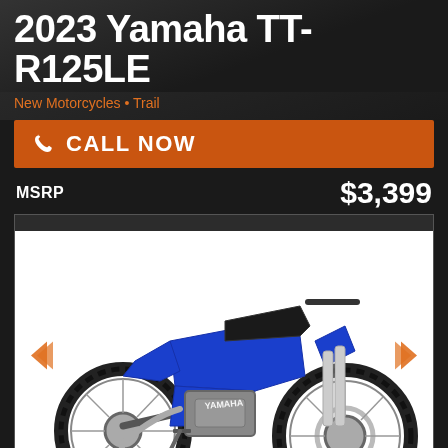2023 Yamaha TT-R125LE
New Motorcycles • Trail
CALL NOW
MSRP $3,399
[Figure (photo): 2023 Yamaha TT-R125LE blue dirt/trail motorcycle shown in profile view on white background, with orange navigation arrows on left and right sides]